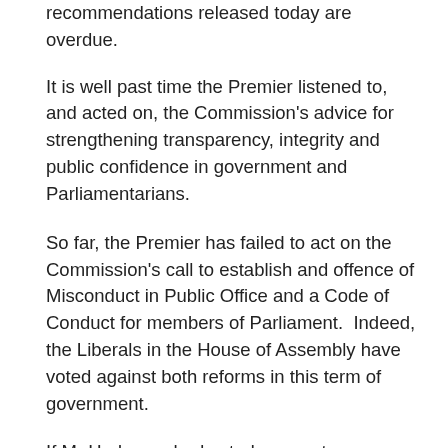recommendations released today are overdue.
It is well past time the Premier listened to, and acted on, the Commission's advice for strengthening transparency, integrity and public confidence in government and Parliamentarians.
So far, the Premier has failed to act on the Commission's call to establish and offence of Misconduct in Public Office and a Code of Conduct for members of Parliament.  Indeed, the Liberals in the House of Assembly have voted against both reforms in this term of government.
If Mr Hodgman had acted sooner to implement the Integrity Commission's recommendations, some of the scandals besetting his government now may not have taken place or measures to respond to them would be in place.